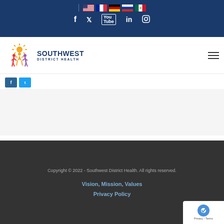[Figure (screenshot): Dark blue header bar with language flag icons (US, French, German, Russian, Mexican) and social media icons (Facebook, Twitter, YouTube, LinkedIn, Instagram)]
[Figure (logo): Southwest District Health logo with colorful figures and sun graphic, text reads SOUTHWEST DISTRICT HEALTH]
[Figure (screenshot): Small share/social icons in teal/blue below the navigation bar]
Copyright © 2022 - Southwest District Health. All rights reserved.
Vision, Mission, Values
Privacy Policy